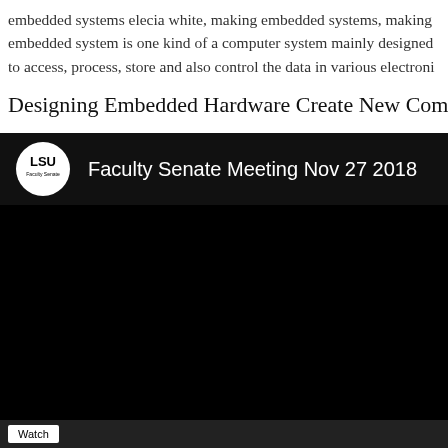embedded systems elecia white, making embedded systems, making embedded system is one kind of a computer system mainly designed to access, process, store and also control the data in various electroni
Designing Embedded Hardware Create New Computer
[Figure (screenshot): YouTube-style video thumbnail showing LSU Faculty Senate logo and title 'Faculty Senate Meeting Nov 27 2018' on a black background]